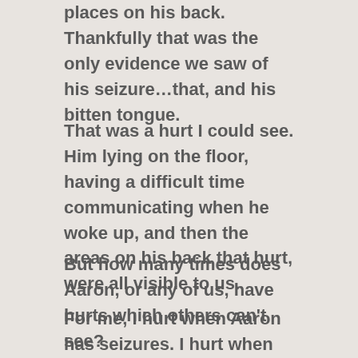places on his back.  Thankfully that was the only evidence we saw of his seizure…that, and his bitten tongue.
That was a hurt I could see.  Him lying on the floor, having a difficult time communicating when he woke up, and then the areas on his back that hurt, were all visible to us.
But how many times does Aaron, or any of us, have hurts which others can't see?
For me, I hurt when Aaron has seizures.  I hurt when he talks about wanting a girlfriend or wanting to get married.
Or when his meds make him very sleepy, and I